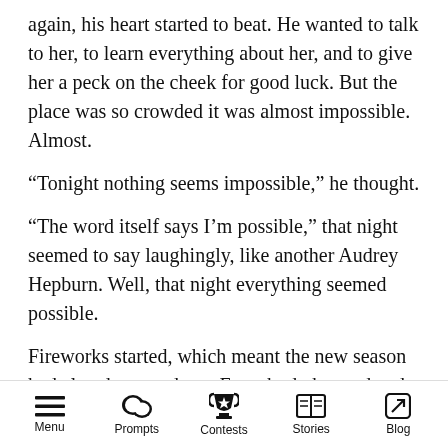again, his heart started to beat. He wanted to talk to her, to learn everything about her, and to give her a peck on the cheek for good luck. But the place was so crowded it was almost impossible. Almost.
“Tonight nothing seems impossible,” he thought.
“The word itself says I’m possible,” that night seemed to say laughingly, like another Audrey Hepburn. Well, that night everything seemed possible.
Fireworks started, which meant the new season had already started too. Everybody hugged and kissed and laughed happily. So was he. And so was she. For the first time after a long time, he
Menu  Prompts  Contests  Stories  Blog